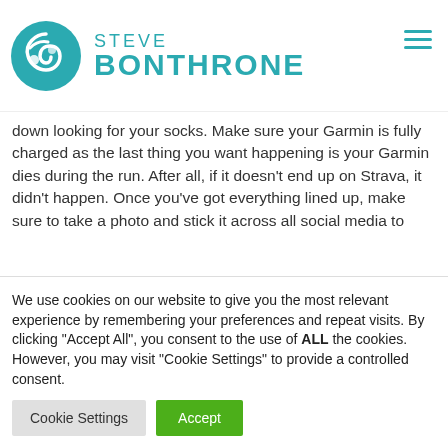[Figure (logo): Steve Bonthrone logo with teal circular icon and teal text reading STEVE BONTHRONE]
down looking for your socks. Make sure your Garmin is fully charged as the last thing you want happening is your Garmin dies during the run. After all, if it doesn't end up on Strava, it didn't happen. Once you've got everything lined up, make sure to take a photo and stick it across all social media to remind everyone that you're running a marathon. They may have forgotten.
We use cookies on our website to give you the most relevant experience by remembering your preferences and repeat visits. By clicking "Accept All", you consent to the use of ALL the cookies. However, you may visit "Cookie Settings" to provide a controlled consent.